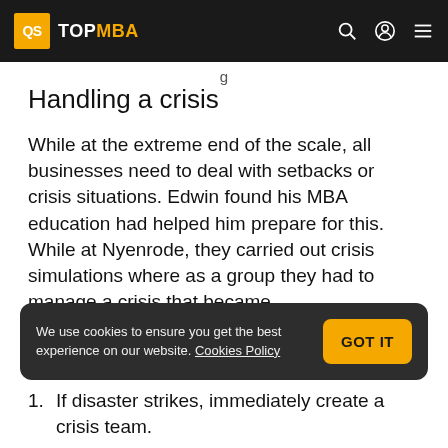QS TOPMBA
g
Handling a crisis
While at the extreme end of the scale, all businesses need to deal with setbacks or crisis situations. Edwin found his MBA education had helped him prepare for this. While at Nyenrode, they carried out crisis simulations where as a group they had to manage a crisis that became
We use cookies to ensure you get the best experience on our website. Cookies Policy
If disaster strikes, immediately create a crisis team.